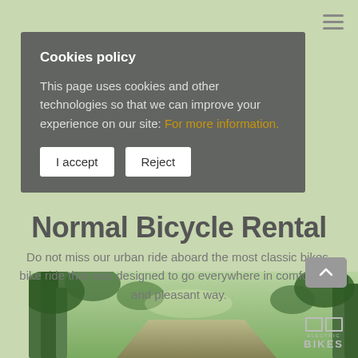Cookies policy
This page uses cookies and other technologies so that we can improve your experience on our site: For more information.
I accept
Reject
Normal Bicycle Rental
Do not miss our urban ride aboard the most classic bikes, bike ride that was designed to go everywhere in comfortable and pleasant way.
[Figure (photo): Forest path photo at the bottom of the page, showing trees and greenery.]